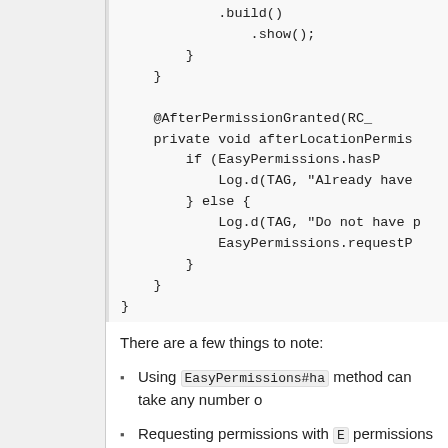Code block showing .build() .show(); closing braces, @AfterPermissionGranted(RC_ annotation, private void afterLocationPermis... if (EasyPermissions.hasP... Log.d(TAG, "Already have ...) } else { Log.d(TAG, "Do not have p...) EasyPermissions.requestP... } } }
There are a few things to note:
Using EasyPermissions#ha... method can take any number o...
Requesting permissions with ... permissions and show the rati... this request, and the method ca...
Use of the AfterPermissio...